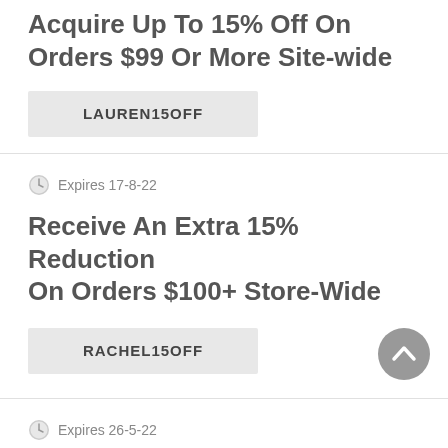Acquire Up To 15% Off On Orders $99 Or More Site-wide
LAUREN15OFF
Expires 17-8-22
Receive An Extra 15% Reduction On Orders $100+ Store-Wide
RACHEL15OFF
Expires 26-5-22